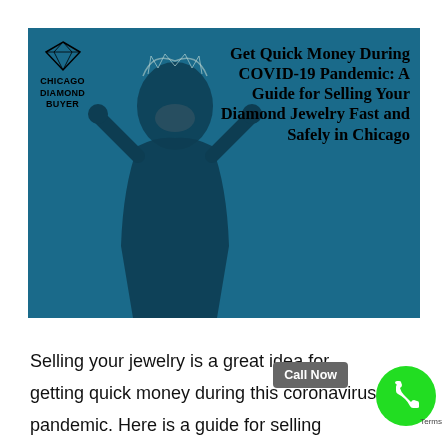[Figure (illustration): Banner image with dark teal/blue background showing a woman wearing a face mask with hands raised near her head, and the Chicago Diamond Buyer logo in the top left corner. Title text on the right reads: Get Quick Money During COVID-19 Pandemic: A Guide for Selling Your Diamond Jewelry Fast and Safely in Chicago]
Selling your jewelry is a great idea for getting quick money during this coronavirus pandemic. Here is a guide for selling diamond jewelry fast and safely.